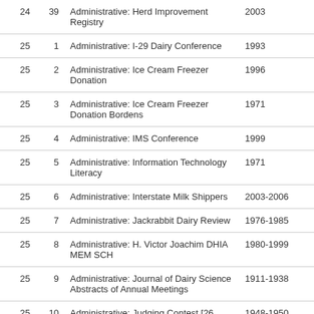| Box | Folder | Title | Date |
| --- | --- | --- | --- |
| 24 | 39 | Administrative: Herd Improvement Registry | 2003 |
| 25 | 1 | Administrative: I-29 Dairy Conference | 1993 |
| 25 | 2 | Administrative: Ice Cream Freezer Donation | 1996 |
| 25 | 3 | Administrative: Ice Cream Freezer Donation Bordens | 1971 |
| 25 | 4 | Administrative: IMS Conference | 1999 |
| 25 | 5 | Administrative: Information Technology Literacy | 1971 |
| 25 | 6 | Administrative: Interstate Milk Shippers | 2003-2006 |
| 25 | 7 | Administrative: Jackrabbit Dairy Review | 1976-1985 |
| 25 | 8 | Administrative: H. Victor Joachim DHIA MEM SCH | 1980-1999 |
| 25 | 9 | Administrative: Journal of Dairy Science Abstracts of Annual Meetings | 1911-1938 |
| 25 | 10 | Administrative: Judging Contest [26 black and | 1948-1950 |